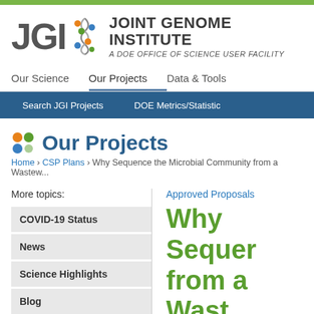[Figure (logo): JGI Joint Genome Institute logo — A DOE Office of Science User Facility]
Our Science   Our Projects   Data & Tools
Search JGI Projects   DOE Metrics/Statistics
Our Projects
Home › CSP Plans › Why Sequence the Microbial Community from a Wastew...
More topics:
COVID-19 Status
News
Science Highlights
Blog
Approved Proposals
Why Sequence the Microbial Community from a Waste...